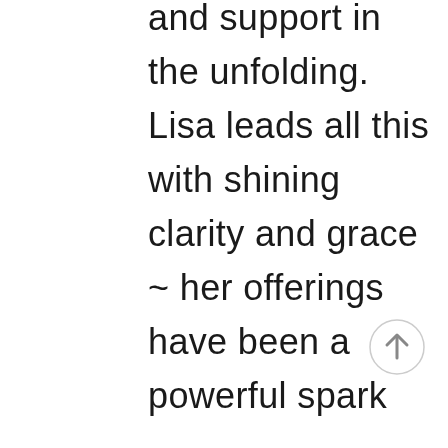and support in the unfolding. Lisa leads all this with shining clarity and grace ~ her offerings have been a powerful spark
[Figure (other): A circular scroll-to-top button with an upward-pointing arrow, light gray border and gray arrow icon]